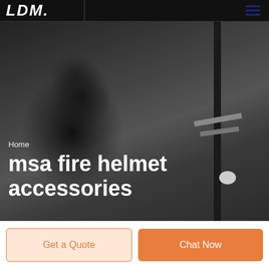LDM
[Figure (photo): Black and white photo of a man in a suit, appears to be in a parking garage or industrial setting with vertical poles and horizontal crossbars visible in the background]
Home
msa fire helmet accessories
Get a Quote
Chat Now